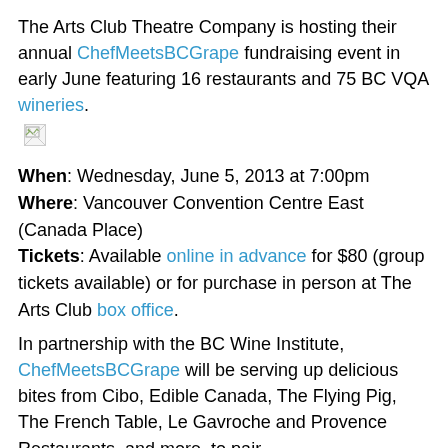The Arts Club Theatre Company is hosting their annual ChefMeetsBCGrape fundraising event in early June featuring 16 restaurants and 75 BC VQA wineries.
[Figure (photo): Broken image placeholder icon]
When: Wednesday, June 5, 2013 at 7:00pm
Where: Vancouver Convention Centre East (Canada Place)
Tickets: Available online in advance for $80 (group tickets available) or for purchase in person at The Arts Club box office.
In partnership with the BC Wine Institute, ChefMeetsBCGrape will be serving up delicious bites from Cibo, Edible Canada, The Flying Pig, The French Table, Le Gavroche and Provence Restaurants, and more, to pair